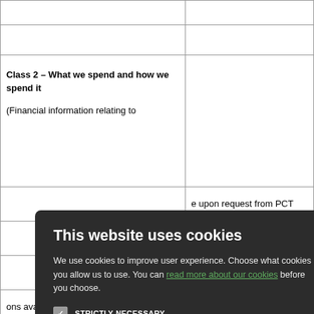|  |  |
| --- | --- |
|  |  |
| Class 2 – What we spend and how we spend it

(Financial information relating to |  |
|  | e upon request from PCT |
|  | e upon request from PCT |
|  |  |
| (Strategies and plans, performance | http://www.qof.ic.nhs.uk/ |
[Figure (screenshot): Cookie consent modal dialog overlay on a dark background (#2c2c2c). Contains title 'This website uses cookies', body text about cookie usage with a link 'read more about our cookies', four cookie category checkboxes (STRICTLY NECESSARY checked, PERFORMANCE unchecked, TARGETING unchecked, FUNCTIONALITY unchecked), and two buttons: 'ACCEPT ALL' (green) and 'DECLINE ALL' (outlined).]